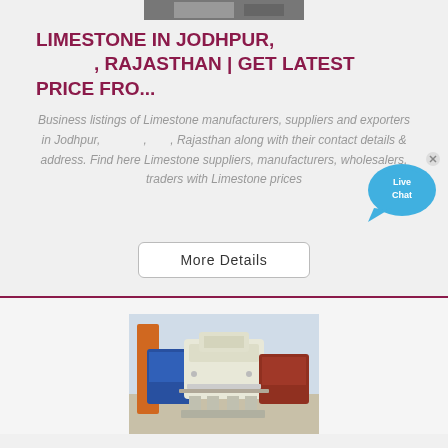[Figure (photo): Top partial image - appears to be limestone or mineral material, partially cropped at top of page]
LIMESTONE IN JODHPUR, , RAJASTHAN | GET LATEST PRICE FRO...
Business listings of Limestone manufacturers, suppliers and exporters in Jodhpur, , , Rajasthan along with their contact details & address. Find here Limestone suppliers, manufacturers, wholesalers, traders with Limestone prices
[Figure (other): Live Chat bubble icon with 'Live Chat' text in blue speech bubble with X close button]
More Details
[Figure (photo): Industrial machinery - appears to be crushing or mining equipment with blue, orange, white and red colored parts]